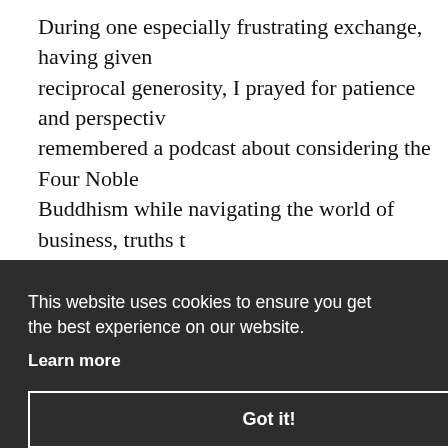During one especially frustrating exchange, having given reciprocal generosity, I prayed for patience and perspectiv remembered a podcast about considering the Four Noble Buddhism while navigating the world of business, truths t facets of our existence. Stepping back and reflecting on th suffering, of attachment to things that are impermeant, tr helpful pause. There is great wisdom, even liberation in th truths, and pondering them again gave me some much-ne on the smallness of these problems in the grand scheme o
This website uses cookies to ensure you get the best experience on our website.
Learn more
Got it!
nded to t her has M nse to th y avoidin accused ael's resp t memor
the movie, and in the years since has been widely quoted